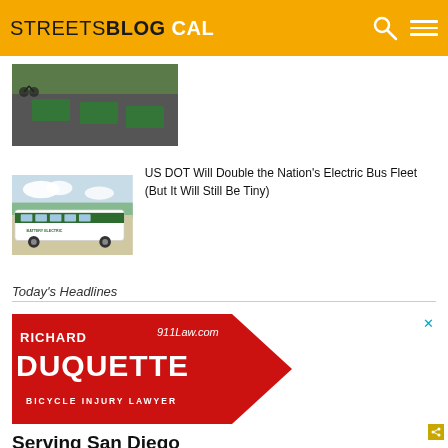STREETSBLOG CAL
[Figure (photo): Aerial view of green bicycle lane markings on pavement with a cyclist visible]
[Figure (photo): A green and white battery electric bus parked outdoors with trees in background]
US DOT Will Double the Nation's Electric Bus Fleet (But It Will Still Be Tiny)
Today's Headlines
[Figure (illustration): Advertisement for Richard Duquette 911Law.com Bicycle Injury Lawyer — Serving San Diego]
$30M for Remaking of Bicyclist...